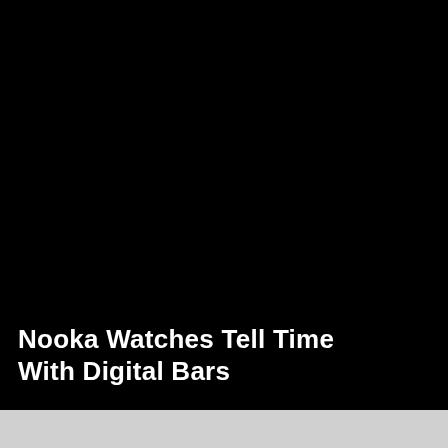[Figure (photo): Black background area, likely a dark product/watch image that is not visible due to black content.]
Nooka Watches Tell Time With Digital Bars